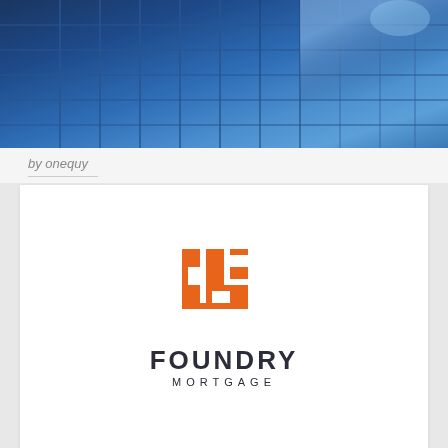[Figure (photo): Blue glass skyscraper buildings photographed from below, with a grid-like curtain wall facade in deep blue tones]
by onequy
[Figure (logo): Foundry Mortgage logo: an orange square geometric symbol made of angular shapes resembling a maze, with 'FOUNDRY' in bold dark letters and 'MORTGAGE' in spaced smaller letters below]